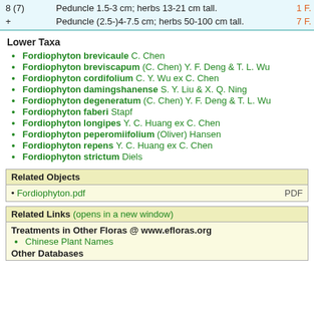| Number | Description | Ref |
| --- | --- | --- |
| 8 (7) | Peduncle 1.5-3 cm; herbs 13-21 cm tall. | 1 F. |
| + | Peduncle (2.5-)4-7.5 cm; herbs 50-100 cm tall. | 7 F. |
Lower Taxa
Fordiophyton brevicaule C. Chen
Fordiophyton breviscapum (C. Chen) Y. F. Deng & T. L. Wu
Fordiophyton cordifolium C. Y. Wu ex C. Chen
Fordiophyton damingshanense S. Y. Liu & X. Q. Ning
Fordiophyton degeneratum (C. Chen) Y. F. Deng & T. L. Wu
Fordiophyton faberi Stapf
Fordiophyton longipes Y. C. Huang ex C. Chen
Fordiophyton peperomiifolium (Oliver) Hansen
Fordiophyton repens Y. C. Huang ex C. Chen
Fordiophyton strictum Diels
| Related Objects |  |
| --- | --- |
| • Fordiophyton.pdf | PDF |
| Related Links (opens in a new window) |
| --- |
| Treatments in Other Floras @ www.efloras.org |  |
| Chinese Plant Names |  |
| Other Databases |  |